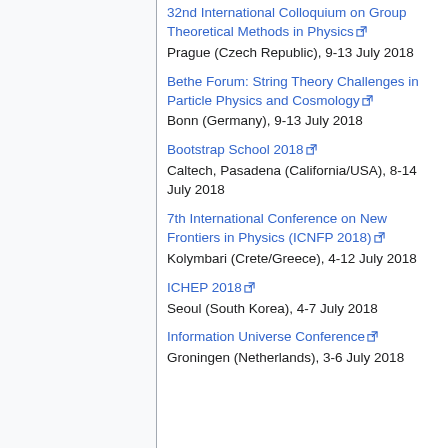32nd International Colloquium on Group Theoretical Methods in Physics
Prague (Czech Republic), 9-13 July 2018
Bethe Forum: String Theory Challenges in Particle Physics and Cosmology
Bonn (Germany), 9-13 July 2018
Bootstrap School 2018
Caltech, Pasadena (California/USA), 8-14 July 2018
7th International Conference on New Frontiers in Physics (ICNFP 2018)
Kolymbari (Crete/Greece), 4-12 July 2018
ICHEP 2018
Seoul (South Korea), 4-7 July 2018
Information Universe Conference
Groningen (Netherlands), 3-6 July 2018